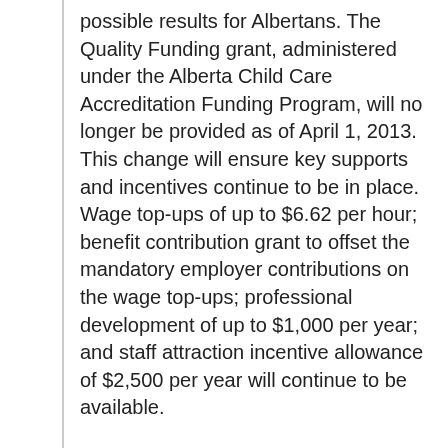possible results for Albertans. The Quality Funding grant, administered under the Alberta Child Care Accreditation Funding Program, will no longer be provided as of April 1, 2013. This change will ensure key supports and incentives continue to be in place. Wage top-ups of up to $6.62 per hour; benefit contribution grant to offset the mandatory employer contributions on the wage top-ups; professional development of up to $1,000 per year; and staff attraction incentive allowance of $2,500 per year will continue to be available.
Provincial Child Care Investments 2013
Provincial Budget 2013: Letter to Child Care